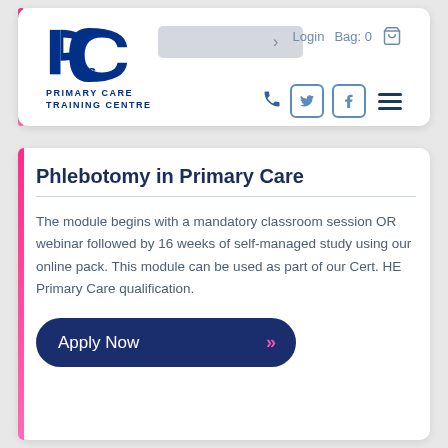[Figure (logo): Primary Care Training Centre logo with 'PC tc' letters in dark blue and 'PRIMARY CARE TRAINING CENTRE' text]
Login  Bag: 0
Phlebotomy in Primary Care
The module begins with a mandatory classroom session OR webinar followed by 16 weeks of self-managed study using our online pack. This module can be used as part of our Cert. HE Primary Care qualification.
Apply Now »